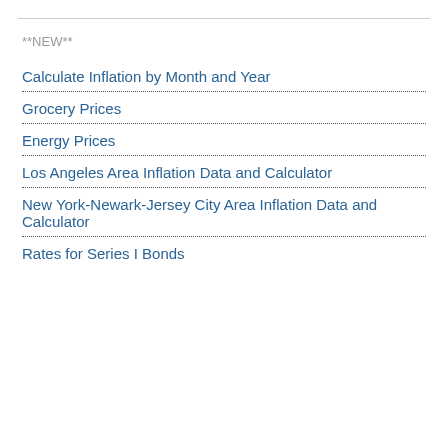**NEW**
Calculate Inflation by Month and Year
Grocery Prices
Energy Prices
Los Angeles Area Inflation Data and Calculator
New York-Newark-Jersey City Area Inflation Data and Calculator
Rates for Series I Bonds